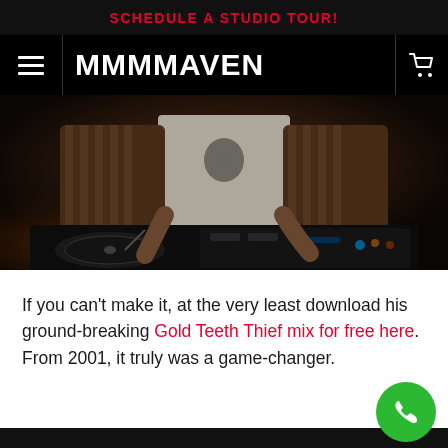SCHEDULE A STUDIO TOUR!
MMMMAVEN
[Figure (photo): A DJ at turntables, wearing a white t-shirt with a graphic, working a DJ mixer/deck setup in a dark environment.]
If you can't make it, at the very least download his ground-breaking Gold Teeth Thief mix for free here. From 2001, it truly was a game-changer.